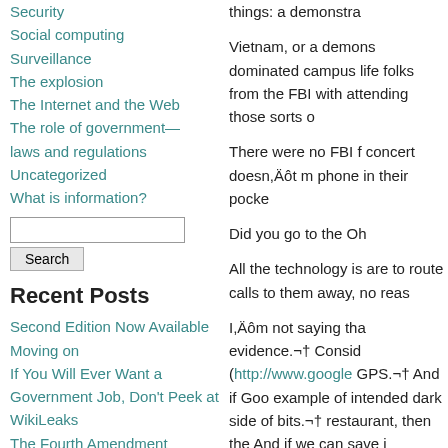Security
Social computing
Surveillance
The explosion
The Internet and the Web
The role of government—laws and regulations
Uncategorized
What is information?
Recent Posts
Second Edition Now Available
Moving on
If You Will Ever Want a Government Job, Don't Peek at WikiLeaks
The Fourth Amendment Protects Your Email
Would it have been worse or better …
Short Course on Privacy, Secrecy, and Censorship
things: a demonstra
Vietnam, or a demons dominated campus life folks from the FBI with attending those sorts o
There were no FBI f concert doesn,Äôt m phone in their pocke
Did you go to the Oh
All the technology is are to route calls to them away, no reas
I,Äôm not saying tha evidence.¬† Consid (http://www.google GPS.¬† And if Goo example of intended dark side of bits.¬† restaurant, then the And if we can save i